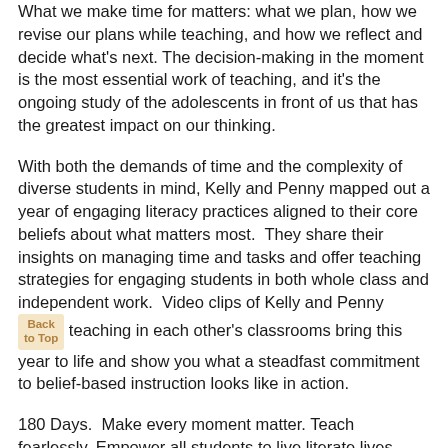What we make time for matters: what we plan, how we revise our plans while teaching, and how we reflect and decide what's next. The decision-making in the moment is the most essential work of teaching, and it's the ongoing study of the adolescents in front of us that has the greatest impact on our thinking.
With both the demands of time and the complexity of diverse students in mind, Kelly and Penny mapped out a year of engaging literacy practices aligned to their core beliefs about what matters most.  They share their insights on managing time and tasks and offer teaching strategies for engaging students in both whole class and independent work.  Video clips of Kelly and Penny teaching in each other's classrooms bring this year to life and show you what a steadfast commitment to belief-based instruction looks like in action.
180 Days.  Make every moment matter. Teach fearlessly. Empower all students to live literate lives.